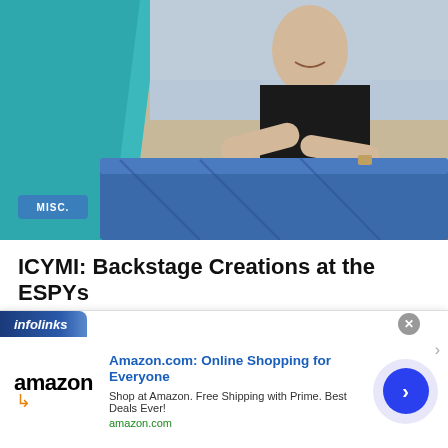[Figure (photo): A woman in a black dress smiling, handling blue jeans/denim at what appears to be an event table, with teal fabric visible on the left side. A 'MISC.' badge overlay is in the bottom-left corner of the photo.]
ICYMI: Backstage Creations at the ESPYs
July 25, 2022  Sammi Turano
[Figure (infographic): Amazon advertisement banner with infolinks branding. Shows Amazon logo, headline 'Amazon.com: Online Shopping for Everyone', subtext 'Shop at Amazon. Free Shipping with Prime. Best Deals Ever!', URL 'amazon.com', and a blue circular CTA button with right arrow.]